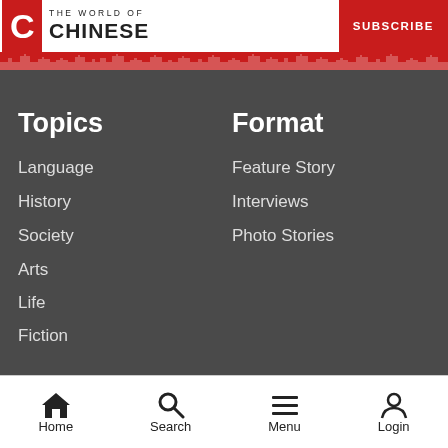THE WORLD OF CHINESE | SUBSCRIBE
Topics
Language
History
Society
Arts
Life
Fiction
Format
Feature Story
Interviews
Photo Stories
Home  Search  Menu  Login